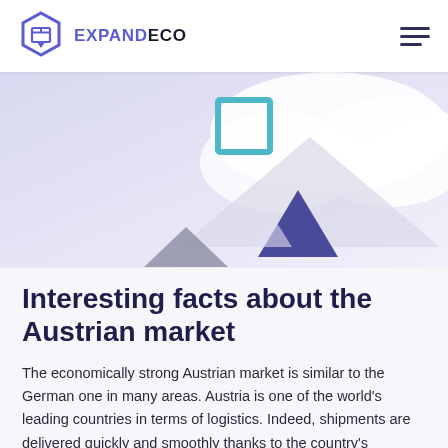EXPANDECO
[Figure (illustration): Abstract illustration with geometric shapes — triangles in grey, light grey, and dark purple/violet, and a teal/blue square outline, on a light lavender background with white cloud-like shapes.]
Interesting facts about the Austrian market
The economically strong Austrian market is similar to the German one in many areas. Austria is one of the world's leading countries in terms of logistics. Indeed, shipments are delivered quickly and smoothly thanks to the country's